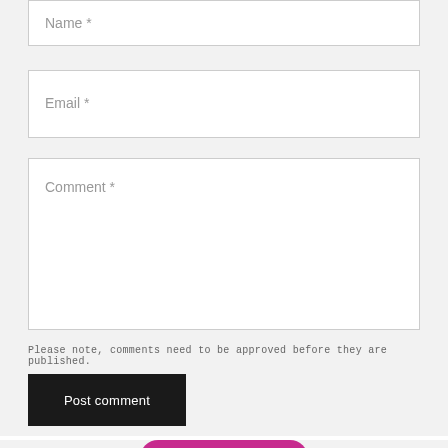Name *
Email *
Comment *
Please note, comments need to be approved before they are published.
Post comment
Earn Rewards